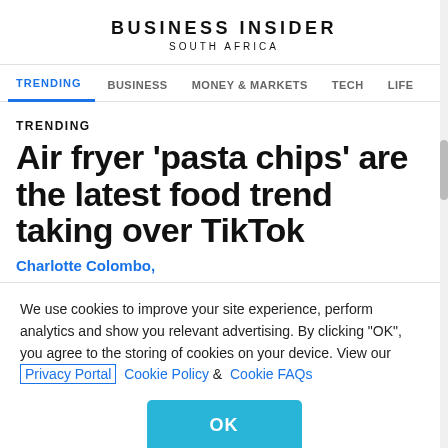BUSINESS INSIDER
SOUTH AFRICA
TRENDING  BUSINESS  MONEY & MARKETS  TECH  LIFE
TRENDING
Air fryer 'pasta chips' are the latest food trend taking over TikTok
Charlotte Colombo,
We use cookies to improve your site experience, perform analytics and show you relevant advertising. By clicking "OK", you agree to the storing of cookies on your device. View our Privacy Portal Cookie Policy & Cookie FAQs
OK